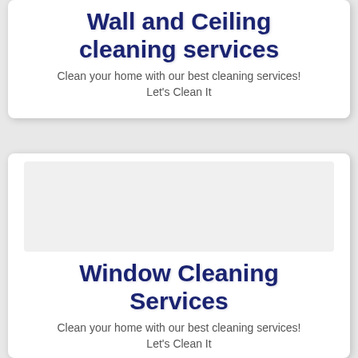Wall and Ceiling cleaning services
Clean your home with our best cleaning services!
Let's Clean It
[Figure (photo): Image placeholder area for window cleaning service card]
Window Cleaning Services
Clean your home with our best cleaning services!
Let's Clean It